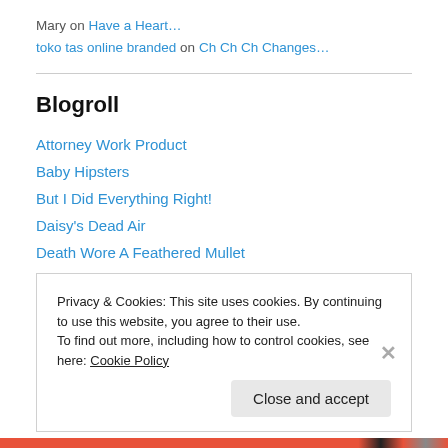Mary on Have a Heart…
toko tas online branded on Ch Ch Ch Changes…
Blogroll
Attorney Work Product
Baby Hipsters
But I Did Everything Right!
Daisy's Dead Air
Death Wore A Feathered Mullet
DeMarCaTionville
Evil Slutopia
Privacy & Cookies: This site uses cookies. By continuing to use this website, you agree to their use. To find out more, including how to control cookies, see here: Cookie Policy
Close and accept